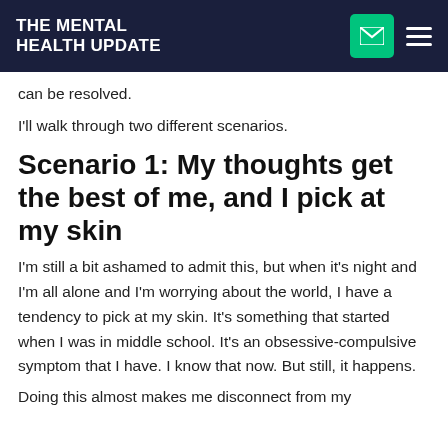THE MENTAL HEALTH UPDATE
can be resolved.
I'll walk through two different scenarios.
Scenario 1: My thoughts get the best of me, and I pick at my skin
I'm still a bit ashamed to admit this, but when it's night and I'm all alone and I'm worrying about the world, I have a tendency to pick at my skin. It's something that started when I was in middle school. It's an obsessive-compulsive symptom that I have. I know that now. But still, it happens.
Doing this almost makes me disconnect from my